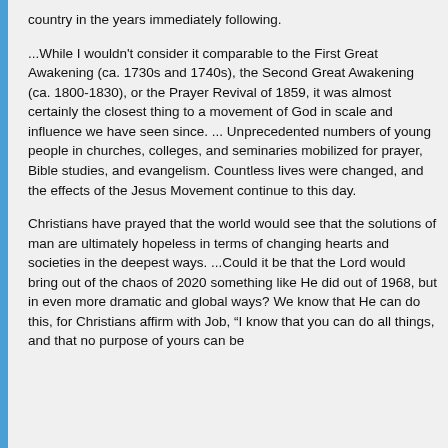country in the years immediately following.
...While I wouldn't consider it comparable to the First Great Awakening (ca. 1730s and 1740s), the Second Great Awakening (ca. 1800-1830), or the Prayer Revival of 1859, it was almost certainly the closest thing to a movement of God in scale and influence we have seen since. ... Unprecedented numbers of young people in churches, colleges, and seminaries mobilized for prayer, Bible studies, and evangelism. Countless lives were changed, and the effects of the Jesus Movement continue to this day.
Christians have prayed that the world would see that the solutions of man are ultimately hopeless in terms of changing hearts and societies in the deepest ways. ...Could it be that the Lord would bring out of the chaos of 2020 something like He did out of 1968, but in even more dramatic and global ways? We know that He can do this, for Christians affirm with Job, “I know that you can do all things, and that no purpose of yours can be